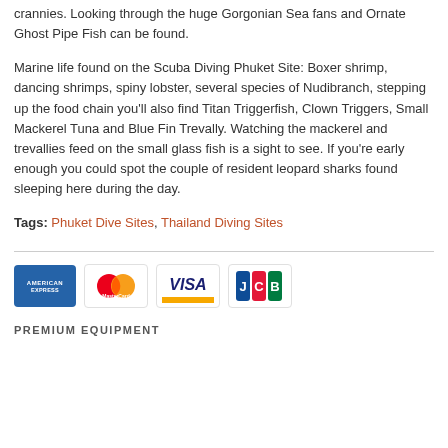crannies. Looking through the huge Gorgonian Sea fans and Ornate Ghost Pipe Fish can be found.
Marine life found on the Scuba Diving Phuket Site: Boxer shrimp, dancing shrimps, spiny lobster, several species of Nudibranch, stepping up the food chain you'll also find Titan Triggerfish, Clown Triggers, Small Mackerel Tuna and Blue Fin Trevally. Watching the mackerel and trevallies feed on the small glass fish is a sight to see. If you're early enough you could spot the couple of resident leopard sharks found sleeping here during the day.
Tags: Phuket Dive Sites, Thailand Diving Sites
[Figure (logo): Payment method logos: American Express, MasterCard, Visa, JCB]
PREMIUM EQUIPMENT